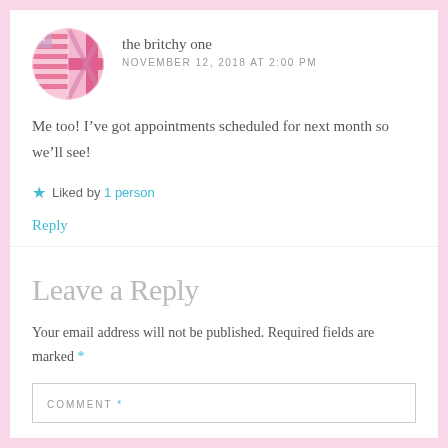[Figure (illustration): Circular avatar image combining US and UK flags in pink tones]
the britchy one
NOVEMBER 12, 2018 AT 2:00 PM
Me too! I’ve got appointments scheduled for next month so we’ll see!
Liked by 1 person
Reply
Leave a Reply
Your email address will not be published. Required fields are marked *
COMMENT *